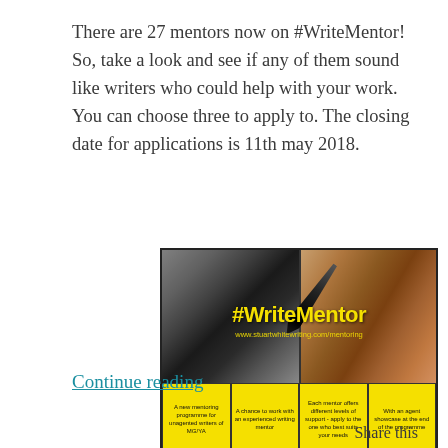There are 27 mentors now on #WriteMentor! So, take a look and see if any of them sound like writers who could help with your work. You can choose three to apply to. The closing date for applications is 11th may 2018.
[Figure (infographic): #WriteMentor promotional image split into two halves: left shows a pen writing, right shows clasped hands. Bold yellow '#WriteMentor' text overlay with website URL. Bottom strip has four yellow boxes with text: 'A new mentoring programme for unagented writers of MG/YA', 'A chance to work with an experienced writing mentor', 'Each mentor offers different levels of support - apply to the one who best suits your needs', 'With an agent showcase at the end of the programme'.]
Continue reading
Share this